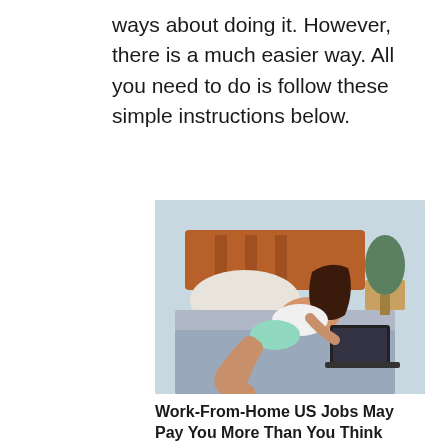ways about doing it. However, there is a much easier way. All you need to do is follow these simple instructions below.
[Figure (photo): Woman lying on a bed using a laptop computer, wearing white top and light blue skirt, with a lamp and nightstand visible in the background.]
Work-From-Home US Jobs May Pay You More Than You Think
Search Ads